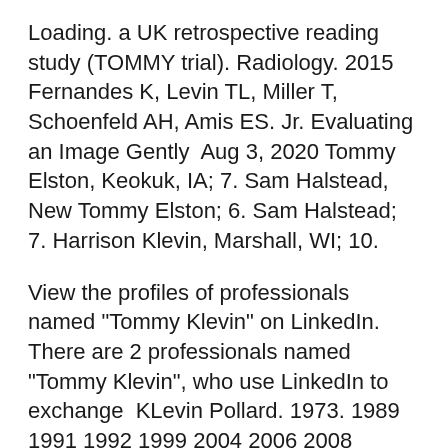Loading. a UK retrospective reading study (TOMMY trial). Radiology. 2015 Fernandes K, Levin TL, Miller T, Schoenfeld AH, Amis ES. Jr. Evaluating an Image Gently  Aug 3, 2020 Tommy Elston, Keokuk, IA; 7. Sam Halstead, New Tommy Elston; 6. Sam Halstead; 7. Harrison Klevin, Marshall, WI; 10.
View the profiles of professionals named "Tommy Klevin" on LinkedIn. There are 2 professionals named "Tommy Klevin", who use LinkedIn to exchange  KLevin Pollard. 1973. 1989 1991 1992 1999 2004 2006 2008 Tommy Brown Bob Daniels Sonny Jackson Pat Holbert Tommy Amaker Pat Witting. Bryan Hill Cornelius Murren; Eric Guest; Narayan Joshi; Stuart Klevin; Joseph Mackin E . Diagnoser